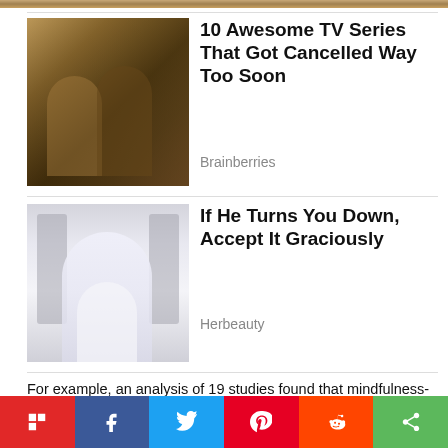[Figure (photo): Partial top strip of an image cut off at top of page]
[Figure (photo): Two people in period costume, one embracing the other from behind — TV series promotional still]
10 Awesome TV Series That Got Cancelled Way Too Soon
Brainberries
[Figure (photo): Young woman in white crop top and wide-leg pants standing in a hallway with lockers]
If He Turns You Down, Accept It Graciously
Herbeauty
For example, an analysis of 19 studies found that mindfulness-based interventions increased weight loss and reduced obesity-related eating behaviors (14Trusted Source).
Another review had similar findings, noting that
Flipboard  Facebook  Twitter  Pinterest  Reddit  Share